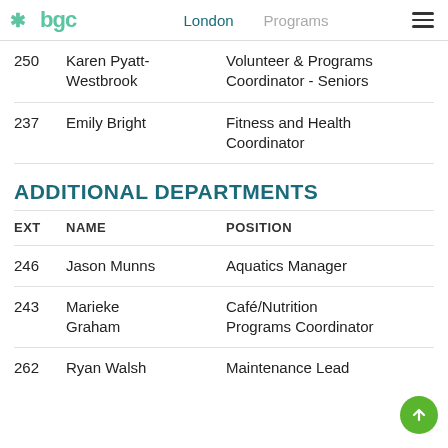bgc | London | Programs
| EXT | NAME | POSITION |
| --- | --- | --- |
| 250 | Karen Pyatt-Westbrook | Volunteer & Programs Coordinator - Seniors |
| 237 | Emily Bright | Fitness and Health Coordinator |
ADDITIONAL DEPARTMENTS
| EXT | NAME | POSITION |
| --- | --- | --- |
| 246 | Jason Munns | Aquatics Manager |
| 243 | Marieke Graham | Café/Nutrition Programs Coordinator |
| 262 | Ryan Walsh | Maintenance Lead |